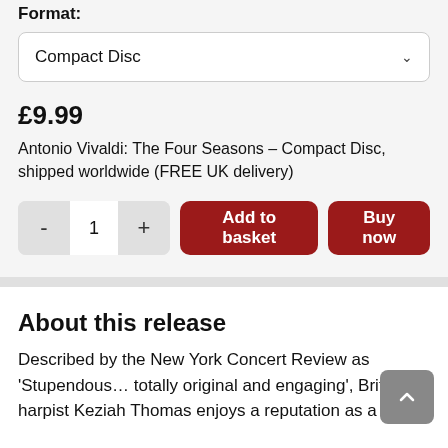Format:
Compact Disc
£9.99
Antonio Vivaldi: The Four Seasons – Compact Disc, shipped worldwide (FREE UK delivery)
- 1 +  Add to basket  Buy now
About this release
Described by the New York Concert Review as 'Stupendous… totally original and engaging', British harpist Keziah Thomas enjoys a reputation as a